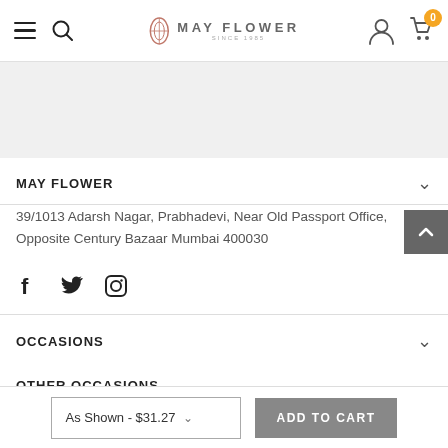May Flower — navigation header with logo, search, user, and cart icons
MAY FLOWER
39/1013 Adarsh Nagar, Prabhadevi, Near Old Passport Office, Opposite Century Bazaar Mumbai 400030
[Figure (infographic): Social media icons: Facebook, Twitter, Instagram]
OCCASIONS
OTHER OCCASIONS
As Shown - $31.27 | ADD TO CART